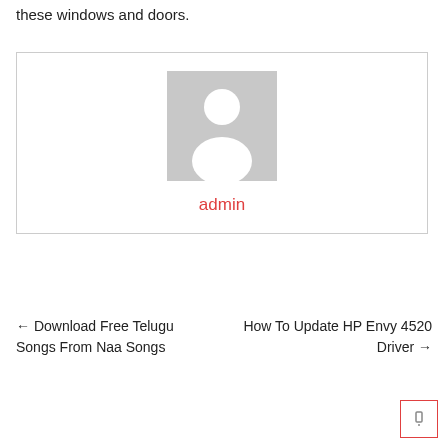these windows and doors.
[Figure (illustration): Author avatar placeholder — grey square with white silhouette of a person (head and shoulders), with the text 'admin' in red below.]
admin
← Download Free Telugu Songs From Naa Songs
How To Update HP Envy 4520 Driver →